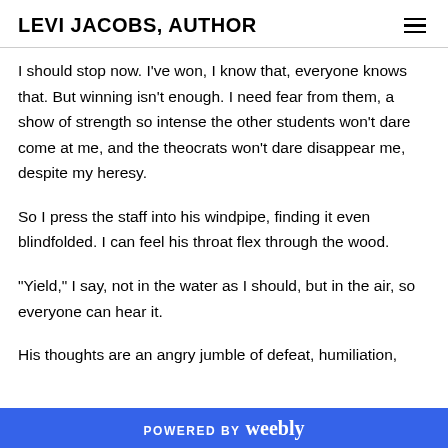LEVI JACOBS, AUTHOR
I should stop now. I’ve won, I know that, everyone knows that. But winning isn’t enough. I need fear from them, a show of strength so intense the other students won’t dare come at me, and the theocrats won’t dare disappear me, despite my heresy.
So I press the staff into his windpipe, finding it even blindfolded. I can feel his throat flex through the wood.
“Yield,” I say, not in the water as I should, but in the air, so everyone can hear it.
His thoughts are an angry jumble of defeat, humiliation,
POWERED BY weebly